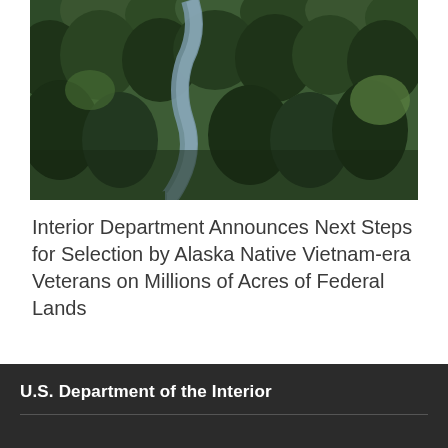[Figure (photo): Aerial view of a river winding through dense evergreen forest (spruce/pine trees) in Alaska, viewed from above with green canopy visible.]
Interior Department Announces Next Steps for Selection by Alaska Native Vietnam-era Veterans on Millions of Acres of Federal Lands
Back to top
U.S. Department of the Interior